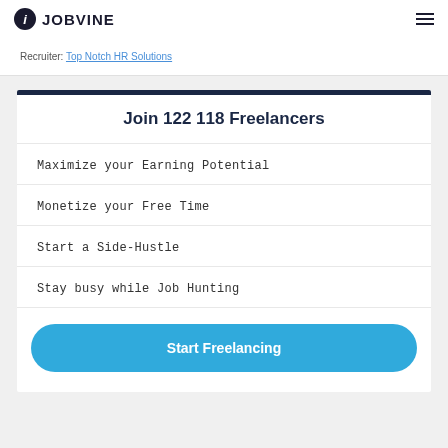JOBVINE
Recruiter: Top Notch HR Solutions
Join 122 118 Freelancers
Maximize your Earning Potential
Monetize your Free Time
Start a Side-Hustle
Stay busy while Job Hunting
Start Freelancing